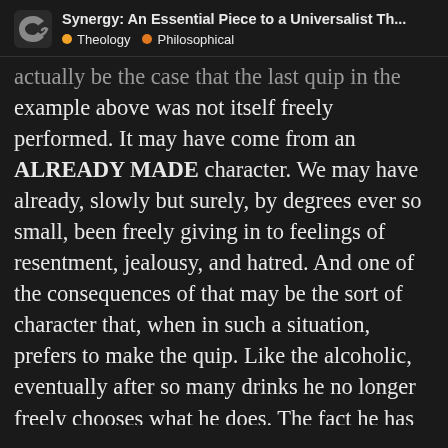Synergy: An Essential Piece to a Universalist Th... • Theology • Philosophical
actually be the case that the last quip in the example above was not itself freely performed. It may have come from an ALREADY MADE character. We may have already, slowly but surely, by degrees ever so small, been freely giving in to feelings of resentment, jealousy, and hatred. And one of the consequences of that may be the sort of character that, when in such a situation, prefers to make the quip. Like the alcoholic, eventually after so many drinks he no longer freely chooses what he does. The fact he has gotten do drunk, however, comes from his initial choice. This, by the way, is exactly what I think happened in the [Back] ter and Jesus. Jesus was able to pred [1/7] because he was able to see just w